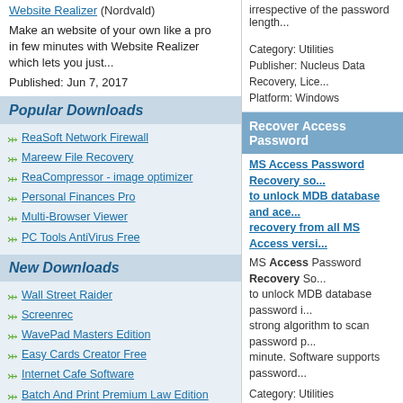Website Realizer (Nordvald)
Make an website of your own like a pro in few minutes with Website Realizer which lets you just...
Published: Jun 7, 2017
Popular Downloads
ReaSoft Network Firewall
Mareew File Recovery
ReaCompressor - image optimizer
Personal Finances Pro
Multi-Browser Viewer
PC Tools AntiVirus Free
New Downloads
Wall Street Raider
Screenrec
WavePad Masters Edition
Easy Cards Creator Free
Internet Cafe Software
Batch And Print Premium Law Edition
Batch & Print Enterprise
IP2Location Geolocation Database
PresenTense Time Client
Batch Document Converter Pro
dbForge SQL Complete
irrespective of the password length...
Category: Utilities
Publisher: Nucleus Data Recovery, Lice...
Platform: Windows
Recover Access Password
MS Access Password Recovery so... to unlock MDB database and ace... recovery from all MS Access versi...
MS Access Password Recovery So... to unlock MDB database password i... strong algorithm to scan password p... minute. Software supports password...
Category: Utilities
Publisher: Recover Access Password, L...
Platform: Windows
Microsoft Access Password R...
Use Microsoft Access Password R... Microsoft Access 95, 97, 2000, 200...
Use Microsoft Access Password Re... Microsoft Access 95, 97, 2002... advanced featured program that ens... numeric, alpha-numeric, ANSI and U...
Category: Utilities / File & Disk Manager...
Publisher: Microsoft Access Password Re...